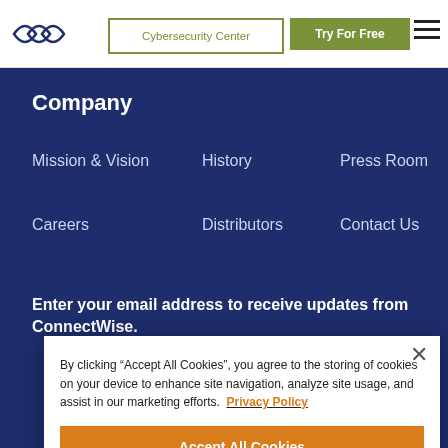Cybersecurity Center | Try For Free
Company
Mission & Vision
History
Press Room
Careers
Distributors
Contact Us
Enter your email address to receive updates from ConnectWise.
By clicking “Accept All Cookies”, you agree to the storing of cookies on your device to enhance site navigation, analyze site usage, and assist in our marketing efforts. Privacy Policy
Accept All Cookies